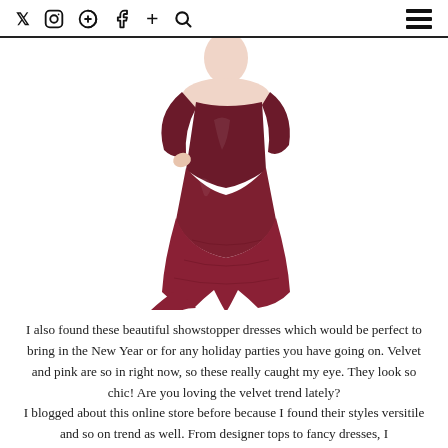Social media icons: Twitter, Instagram, Pinterest, Facebook, Plus, Search | Hamburger menu
[Figure (photo): A woman wearing a deep burgundy/wine-colored velvet mermaid gown with long sleeves, posed on a white background. The dress has a fitted silhouette and a flared train at the bottom.]
I also found these beautiful showstopper dresses which would be perfect to bring in the New Year or for any holiday parties you have going on. Velvet and pink are so in right now, so these really caught my eye. They look so chic! Are you loving the velvet trend lately?
I blogged about this online store before because I found their styles versitile and so on trend as well. From designer tops to fancy dresses, I